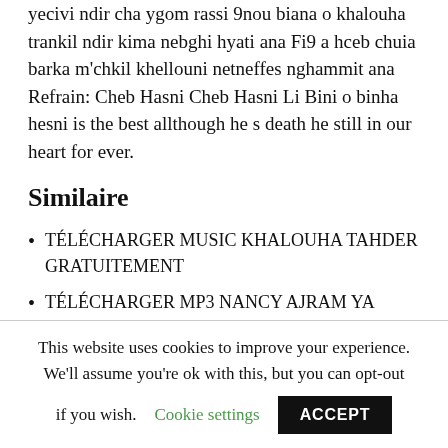yecivi ndir cha ygom rassi 9nou biana o khalouha trankil ndir kima nebghi hyati ana Fi9 a hceb chuia barka m'chkil khellouni netneffes nghammit ana Refrain: Cheb Hasni Cheb Hasni Li Bini o binha hesni is the best allthough he s death he still in our heart for ever.
Similaire
TÉLÉCHARGER MUSIC KHALOUHA TAHDER GRATUITEMENT
TÉLÉCHARGER MP3 NANCY AJRAM YA KETHER GRATUIT
TÉLÉCHARGER CHEB BILAL HNA KIMA HAK
This website uses cookies to improve your experience. We'll assume you're ok with this, but you can opt-out if you wish. Cookie settings ACCEPT